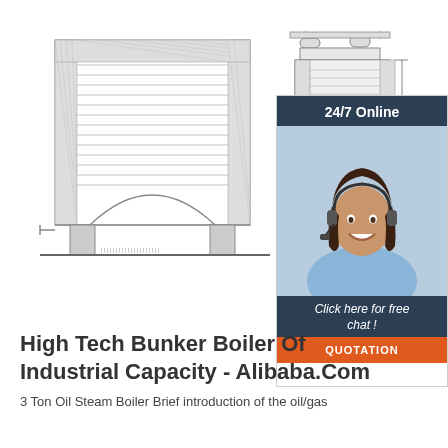[Figure (engineering-diagram): Two technical schematic drawings of an industrial bunker/steam boiler side by side. Left drawing shows a front cross-section view of the boiler with arched firebox opening at the bottom, hatched walls, and internal components. Right drawing shows a side cross-section with drum assembly, horizontal tubes/heat exchanger section, and support structure. Both are line drawings in grayscale.]
[Figure (illustration): Customer service chat widget overlay in top-right area. Dark navy header reading '24/7 Online', photo of a smiling woman with dark hair wearing a headset (customer service representative) in light blue blouse, dark navy footer with italic text 'Click here for free chat!', and orange button labeled 'QUOTATION'.]
High Tech Bunker Boiler Of Industrial Capacity - Alibaba.Com
3 Ton Oil Steam Boiler Brief introduction of the oil/gas